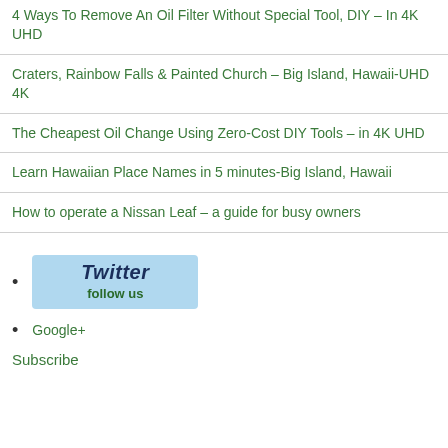4 Ways To Remove An Oil Filter Without Special Tool, DIY – In 4K UHD
Craters, Rainbow Falls & Painted Church – Big Island, Hawaii-UHD 4K
The Cheapest Oil Change Using Zero-Cost DIY Tools – in 4K UHD
Learn Hawaiian Place Names in 5 minutes-Big Island, Hawaii
How to operate a Nissan Leaf – a guide for busy owners
[Figure (logo): Twitter follow us button badge with light blue background]
Google+
Subscribe